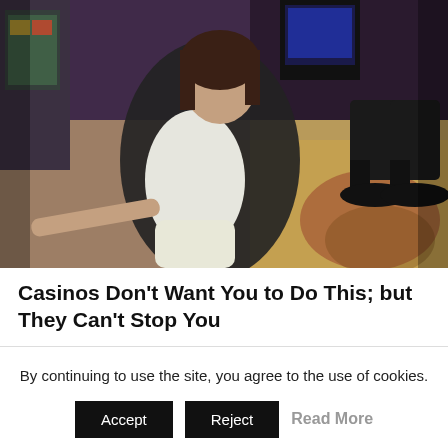[Figure (photo): A woman in a white shirt and white pants wearing a black blazer, sitting in a casino environment with slot machines and chairs visible in the background. The casino floor has a patterned carpet.]
Casinos Don't Want You to Do This; but They Can't Stop You
By continuing to use the site, you agree to the use of cookies.
Accept  Reject  Read More